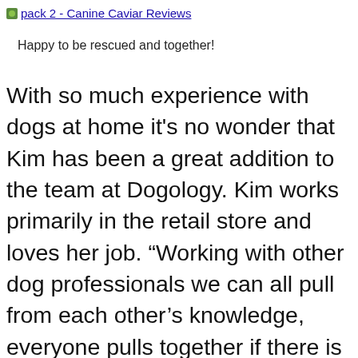pack 2 - Canine Caviar Reviews
Happy to be rescued and together!
With so much experience with dogs at home it's no wonder that Kim has been a great addition to the team at Dogology. Kim works primarily in the retail store and loves her job. “Working with other dog professionals we can all pull from each other’s knowledge, everyone pulls together if there is a customer with a problem,” Kim said. About Canine Caviar she added, “We have had a lot of clients who have been helped a lot with Canine Caviar. We just absolutely love it.” Kim enjoys helping